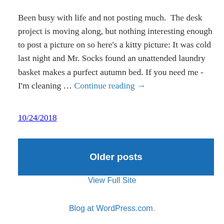Been busy with life and not posting much.  The desk project is moving along, but nothing interesting enough to post a picture on so here's a kitty picture: It was cold last night and Mr. Socks found an unattended laundry basket makes a purfect autumn bed. If you need me - I'm cleaning … Continue reading →
10/24/2018
Older posts
View Full Site
Blog at WordPress.com.